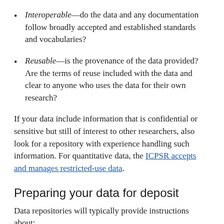Interoperable—do the data and any documentation follow broadly accepted and established standards and vocabularies?
Reusable—is the provenance of the data provided? Are the terms of reuse included with the data and clear to anyone who uses the data for their own research?
If your data include information that is confidential or sensitive but still of interest to other researchers, also look for a repository with experience handling such information. For quantitative data, the ICPSR accepts and manages restricted-use data.
Preparing your data for deposit
Data repositories will typically provide instructions about: